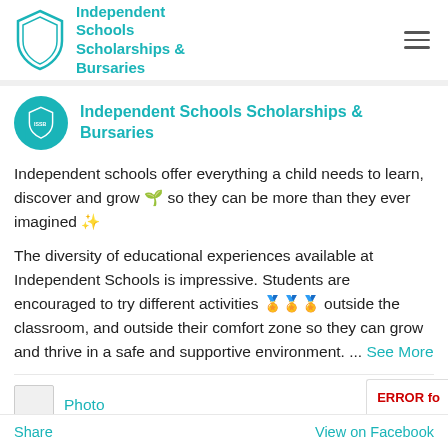Independent Schools Scholarships & Bursaries
Independent Schools Scholarships & Bursaries
Independent schools offer everything a child needs to learn, discover and grow 🌱 so they can be more than they ever imagined ✨
The diversity of educational experiences available at Independent Schools is impressive. Students are encouraged to try different activities 🏅🏅🏅 outside the classroom, and outside their comfort zone so they can grow and thrive in a safe and supportive environment. ... See More
Photo
Share    View on Facebook